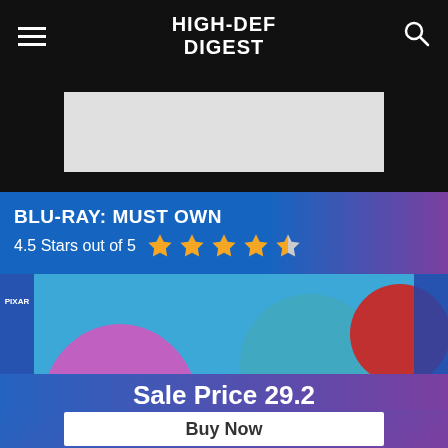HIGH-DEF DIGEST
[Figure (other): Gray advertisement placeholder banner]
BLU-RAY: MUST OWN
4.5 Stars out of 5
[Figure (illustration): Inside Out Blu-ray cover art showing Joy (blue-haired character), Fear (purple character), and Disgust (green character) from Pixar's Inside Out movie]
Sale Price 29.2
Buy Now